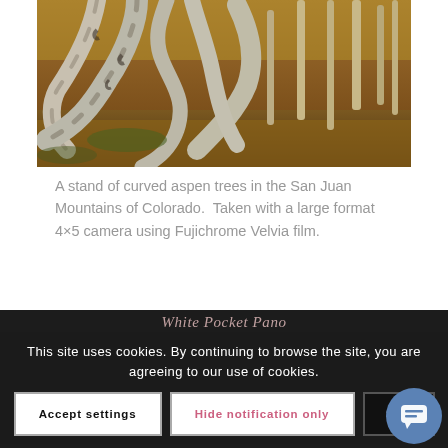[Figure (photo): A stand of curved aspen trees with white bark bending dramatically, photographed in a forest with autumn colors in the San Juan Mountains of Colorado.]
A stand of curved aspen trees in the San Juan Mountains of Colorado.  Taken with a large format 4×5 camera using Fujichrome Velvia film.
White Pocket Pano
This site uses cookies. By continuing to browse the site, you are agreeing to our use of cookies.
Accept settings
Hide notification only
Sett